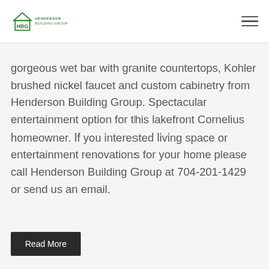HBG Henderson Building Group
gorgeous wet bar with granite countertops, Kohler brushed nickel faucet and custom cabinetry from Henderson Building Group. Spectacular entertainment option for this lakefront Cornelius homeowner. If you interested living space or entertainment renovations for your home please call Henderson Building Group at 704-201-1429 or send us an email.
Read More